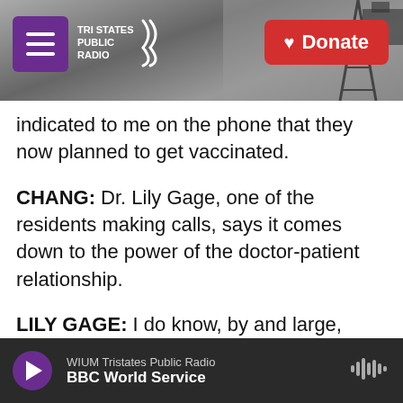[Figure (screenshot): Website header with Tri States Public Radio logo on purple background, radio tower image, and red Donate button]
indicated to me on the phone that they now planned to get vaccinated.
CHANG: Dr. Lily Gage, one of the residents making calls, says it comes down to the power of the doctor-patient relationship.
LILY GAGE: I do know, by and large, most of these patients, and I have relationships with them. And so I can be a trusted source, I hope anyway, in this sea of sources that we're all inundated by.
KELLY: In this instance, this group of young doctors are one source their patients can trust and rely on
WIUM Tristates Public Radio
BBC World Service